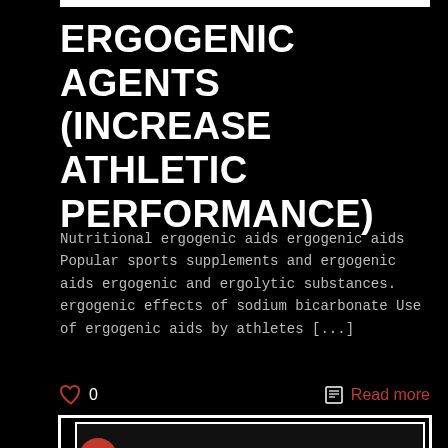ERGOGENIC AGENTS (INCREASE ATHLETIC PERFORMANCE)
Nutritional ergogenic aids ergogenic aids Popular sports supplements and ergogenic aids ergogenic and ergolytic substances. ergogenic effects of sodium bicarbonate Use of ergogenic aids by athletes [...]
0  Read more
[Figure (illustration): A card/frame element with white border on dark background, containing a red circle icon with a face symbol and a vertical white line below it]